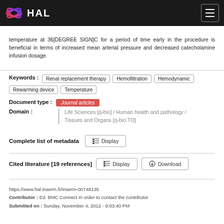HAL
temperature at 36[DEGREE SIGN]C for a period of time early in the procedure is beneficial in terms of increased mean arterial pressure and decreased catecholamine infusion dosage.
Keywords : Renal replacement therapy | Hemofiltration | Hemodynamic | Rewarming device | Temperature
Document type : Journal articles
Domain : Life Sciences [q-bio] / Human health and pathology / Tissues and Organs [q-bio.TO]
Complete list of metadata  Display
Cited literature [19 references]  Display  Download
https://www.hal.inserm.fr/inserm-00748135
Contributor : Ed. BMC Connect in order to contact the contributor
Submitted on : Sunday, November 4, 2012 - 9:03:40 PM